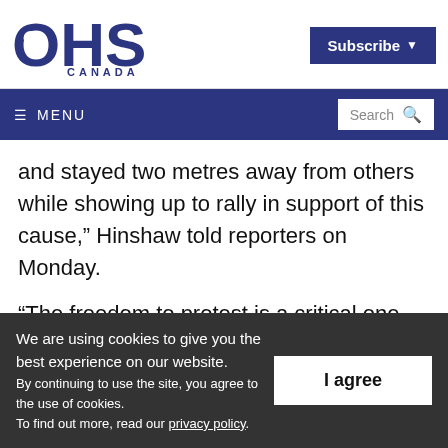[Figure (logo): OHS Canada logo in dark navy blue with large letters OHS and CANADA below]
Subscribe ▾   ≡ MENU   Search 🔍
and stayed two metres away from others while showing up to rally in support of this cause," Hinshaw told reporters on Monday.
“The freedom to protest is a critical one and yet we face a challenge in this time of
We are using cookies to give you the best experience on our website.
By continuing to use the site, you agree to the use of cookies.
To find out more, read our privacy policy.
I agree